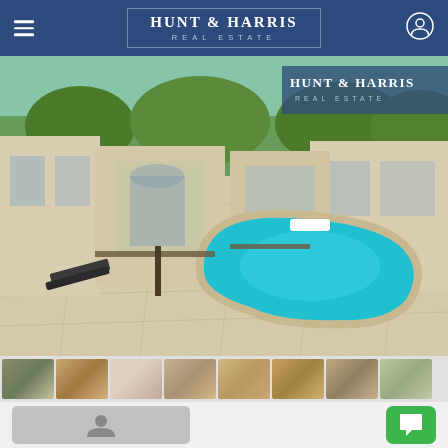[Figure (logo): Hunt & Harris Real Estate logo in header navigation bar with blue background]
[Figure (photo): Exterior photo of a luxury villa with a kidney-shaped swimming pool, sandy-beige stone paving, arched doorways and lush green trees in background. Hunt & Harris Real Estate watermark overlay in top right corner.]
[Figure (photo): Thumbnail strip showing 8 small property photos below the main photo]
[Figure (screenshot): Bottom UI bar with agent profile button (grey) on left and green chat/message button on right]